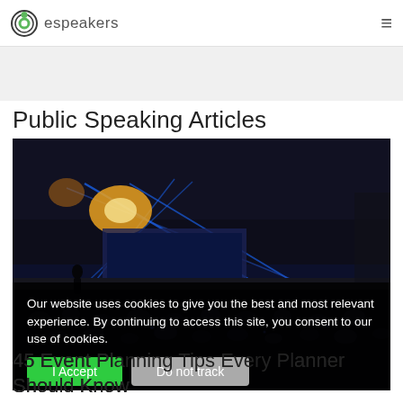espeakers
Public Speaking Articles
[Figure (photo): Large conference hall with stage lighting in blue and gold, speaker on stage, large audience in seats]
Our website uses cookies to give you the best and most relevant experience. By continuing to access this site, you consent to our use of cookies.
I Accept | Do not track
45 Event Planning Tips Every Planner Should Know